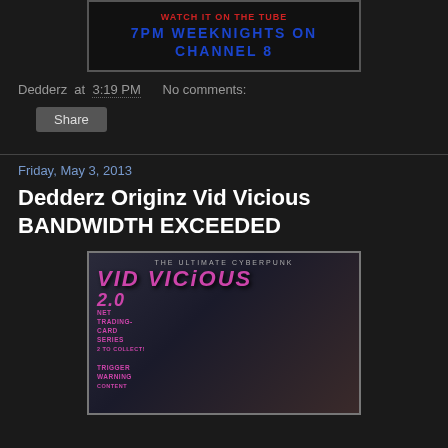[Figure (illustration): TV show banner with red and blue text reading channel/weeknights information]
Dedderz at 3:19 PM    No comments:
Share
Friday, May 3, 2013
Dedderz Originz Vid Vicious BANDWIDTH EXCEEDED
[Figure (illustration): Vid Vicious 2.0 net trading card series promotional image with stylized pink/purple text and a figure]